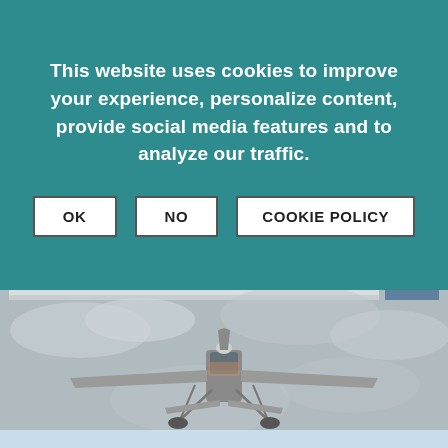This website uses cookies to improve your experience, personalize content, provide social media features and to analyze our traffic.
[Figure (other): Three buttons labeled OK, NO, and COOKIE POLICY on a teal cookie consent banner]
[Figure (photo): A small single-engine propeller aircraft (resembling a Cessna) flying head-on toward the camera against a cloudy grey sky]